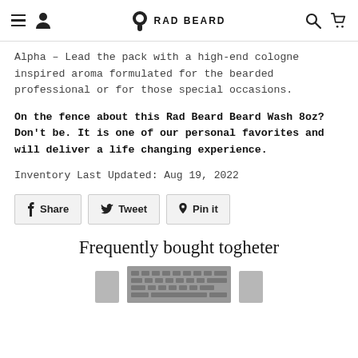RAD BEARD
Alpha – Lead the pack with a high-end cologne inspired aroma formulated for the bearded professional or for those special occasions.
On the fence about this Rad Beard Beard Wash 8oz? Don't be. It is one of our personal favorites and will deliver a life changing experience.
Inventory Last Updated: Aug 19, 2022
Share  Tweet  Pin it
Frequently bought togheter
[Figure (photo): Product images shown at bottom of page — partial keyboard/product image visible]